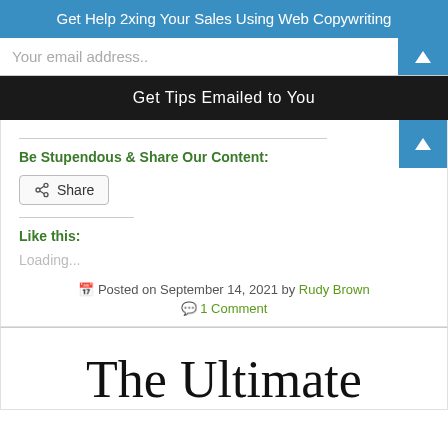Get Help 2xing Your Sales Using Web Copywriting
Your email address..
Get Tips Emailed to You
Be Stupendous & Share Our Content:
Share
Like this:
Loading...
Posted on September 14, 2021 by Rudy Brown
1 Comment
The Ultimate